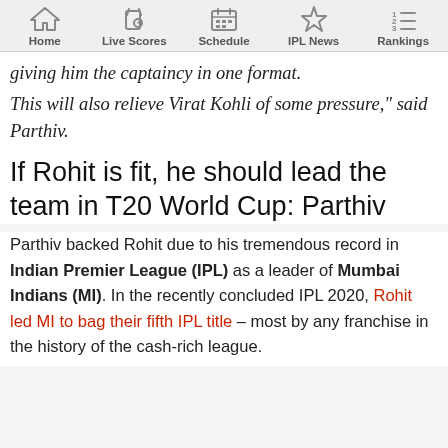Home | Live Scores | Schedule | IPL News | Rankings
giving him the captaincy in one format.

This will also relieve Virat Kohli of some pressure," said Parthiv.
If Rohit is fit, he should lead the team in T20 World Cup: Parthiv
Parthiv backed Rohit due to his tremendous record in Indian Premier League (IPL) as a leader of Mumbai Indians (MI). In the recently concluded IPL 2020, Rohit led MI to bag their fifth IPL title – most by any franchise in the history of the cash-rich league.